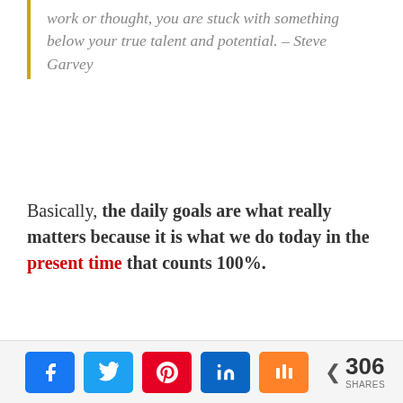work or thought, you are stuck with something below your true talent and potential. – Steve Garvey
Basically, the daily goals are what really matters because it is what we do today in the present time that counts 100%.
[Figure (other): Social sharing bar with Facebook, Twitter, Pinterest, LinkedIn, and Mix buttons, plus a share count showing 306 SHARES]